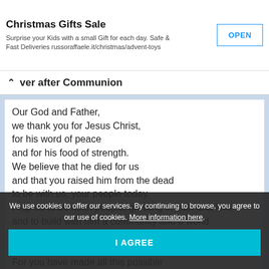[Figure (screenshot): Advertisement banner for Toy Advent Calendar Christmas Gifts Sale with OPEN button]
ver after Communion
Our God and Father,
we thank you for Jesus Christ,
for his word of peace
and for his food of strength.
We believe that he died for us
and that you raised him from the dead
to be with us, your people today.
Help us to be risen people, growing in faith and love
and to build with him a community and a world
where joy and truth, love and justice,
peace and freedom are not empty words.
For you have made all this possible
through...
We use cookies to offer our services. By continuing to browse, you agree to our use of cookies. More information here.